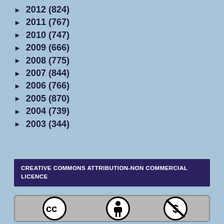► 2012 (824)
► 2011 (767)
► 2010 (747)
► 2009 (666)
► 2008 (775)
► 2007 (844)
► 2006 (766)
► 2005 (870)
► 2004 (739)
► 2003 (344)
CREATIVE COMMONS ATTRIBUTION-NON COMMERCIAL LICENCE
[Figure (logo): Creative Commons license icons: CC logo, Attribution (person) icon, Non-Commercial (dollar sign with slash) icon]